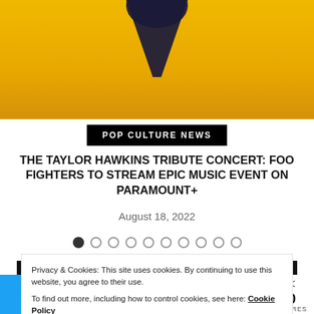[Figure (illustration): Partial view of a Taylor Hawkins tribute concert promotional image with yellow/gold gradient background and dark silhouette figure at top]
POP CULTURE NEWS
THE TAYLOR HAWKINS TRIBUTE CONCERT: FOO FIGHTERS TO STREAM EPIC MUSIC EVENT ON PARAMOUNT+
August 18, 2022
[Figure (other): Pagination dots row: 10 dots, first one filled/active]
FOLLOW US
Privacy & Cookies: This site uses cookies. By continuing to use this website, you agree to their use.
To find out more, including how to control cookies, see here: Cookie Policy
0 SHARES